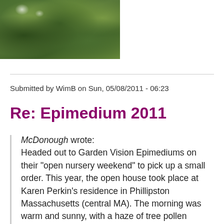[Figure (photo): Photograph of garden plants with green foliage, partially visible at top of page]
Submitted by WimB on Sun, 05/08/2011 - 06:23
Re: Epimedium 2011
McDonough wrote:
Headed out to Garden Vision Epimediums on their "open nursery weekend" to pick up a small order.  This year, the open house took place at Karen Perkin's residence in Phillipston Massachusetts (central MA).  The morning was warm and sunny, with a haze of tree pollen burning my eyes and making me sneeze frequently and my nose run like the wind, and with